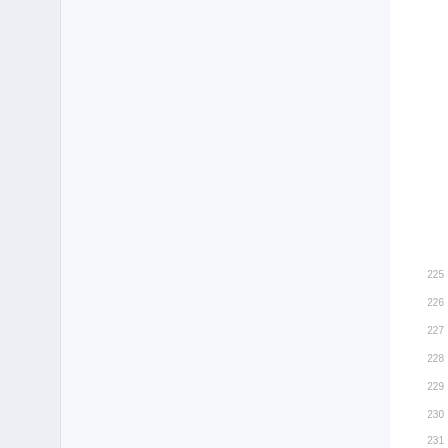225 226 227 228 229 230 231 232 233 234 235 236 237